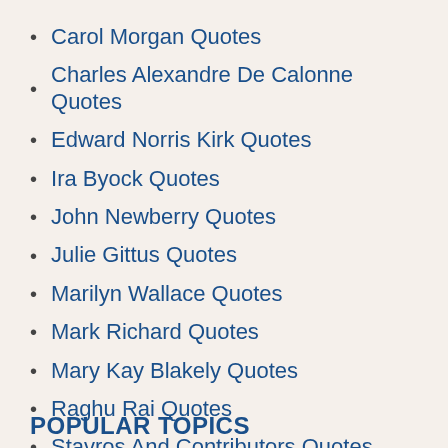Carol Morgan Quotes
Charles Alexandre De Calonne Quotes
Edward Norris Kirk Quotes
Ira Byock Quotes
John Newberry Quotes
Julie Gittus Quotes
Marilyn Wallace Quotes
Mark Richard Quotes
Mary Kay Blakely Quotes
Raghu Rai Quotes
Stavros And Contributors Quotes
POPULAR TOPICS